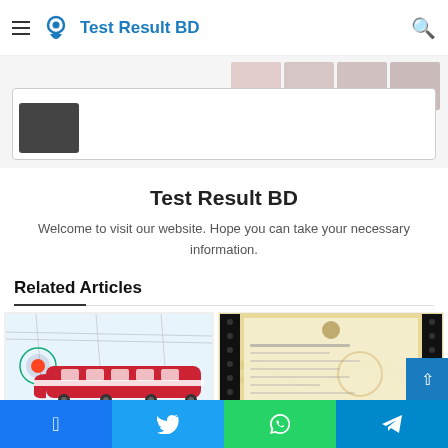Test Result BD
[Figure (screenshot): Partial view of article card with dark thumbnail placeholder at bottom of header area]
Test Result BD
Welcome to visit our website. Hope you can take your necessary information.
Related Articles
[Figure (photo): Red and white modern train with Bangladesh railway logo circular emblem on left]
[Figure (photo): Document/form image with yellow background and black strips on sides, appears to be a government document]